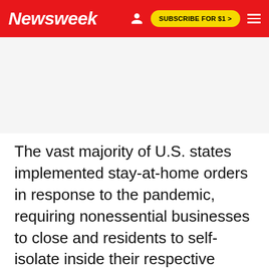Newsweek | SUBSCRIBE FOR $1 >
The vast majority of U.S. states implemented stay-at-home orders in response to the pandemic, requiring nonessential businesses to close and residents to self-isolate inside their respective households to the greatest extent possible. Only Arkansas, Iowa,